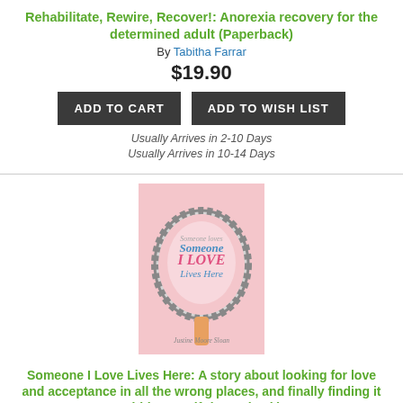Rehabilitate, Rewire, Recover!: Anorexia recovery for the determined adult (Paperback)
By Tabitha Farrar
$19.90
ADD TO CART | ADD TO WISH LIST
Usually Arrives in 2-10 Days
Usually Arrives in 10-14 Days
[Figure (photo): Book cover of 'Someone I Love Lives Here' by Justine Moore Sloan, showing a hand mirror with pink background and decorative grey frame, with the book title in stylized text]
Someone I Love Lives Here: A story about looking for love and acceptance in all the wrong places, and finally finding it within myself. (Paperback)
By Justine Sloan
$16.49
ADD TO CART | ADD TO WISH LIST